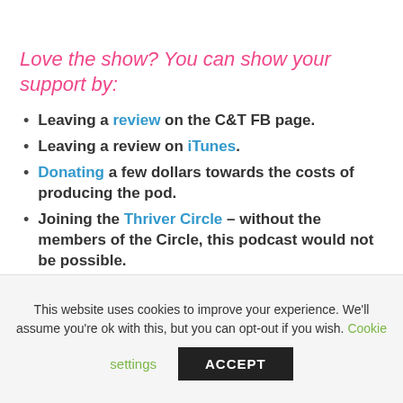Love the show? You can show your support by:
Leaving a review on the C&T FB page.
Leaving a review on iTunes.
Donating a few dollars towards the costs of producing the pod.
Joining the Thriver Circle – without the members of the Circle, this podcast would not be possible.
This website uses cookies to improve your experience. We'll assume you're ok with this, but you can opt-out if you wish. Cookie settings ACCEPT